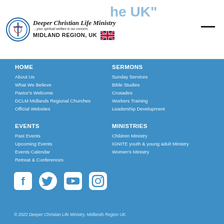Deeper Christian Life Ministry ...your spiritual welfare is our concern. MIDLAND REGION, UK
HOME
About Us
What We Believe
Pastor's Welcome
DCLM Midlands Regional Churches
Official Websites
SERMONS
Sunday Services
Bible Studies
Crusades
Workers Training
Leadership Development
EVENTS
Past Events
Upcoming Events
Events Calendar
Retreat & Conferences
MINISTRIES
Children Ministry
IGNITE youth & young adult Ministry
Women's Ministry
[Figure (infographic): Social media icons: Facebook, Twitter, YouTube, Instagram]
© 2022 Deeper Christian Life Ministry, Midlands Region UK.